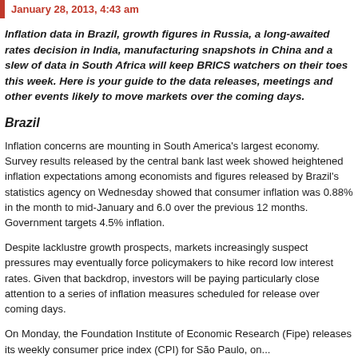January 28, 2013, 4:43 am
Inflation data in Brazil, growth figures in Russia, a long-awaited rates decision in India, manufacturing snapshots in China and a slew of data in South Africa will keep BRICS watchers on their toes this week. Here is your guide to the data releases, meetings and other events likely to move markets over the coming days.
Brazil
Inflation concerns are mounting in South America's largest economy. Survey results released by the central bank last week showed heightened inflation expectations among economists and figures released by Brazil's statistics agency on Wednesday showed that consumer inflation was 0.88% in the month to mid-January and 6.0 over the previous 12 months. Government targets 4.5% inflation.
Despite lacklustre growth prospects, markets increasingly suspect pressures may eventually force policymakers to hike record low interest rates. Given that backdrop, investors will be paying particularly close attention to a series of inflation measures scheduled for release over coming days.
On Monday, the Foundation Institute of Economic Research (Fipe) releases its weekly consumer price index (CPI) for São Paulo, on...